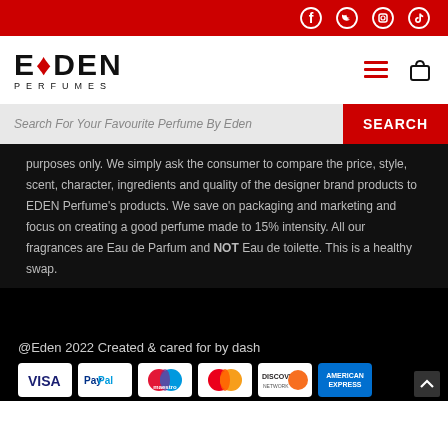Eden Perfumes - social media icons header bar (Facebook, Twitter, Instagram, TikTok)
[Figure (logo): Eden Perfumes logo with red maple leaf dot on the letter E, and PERFUMES subtitle in spaced caps]
Search For Your Favourite Perfume By Eden
purposes only. We simply ask the consumer to compare the price, style, scent, character, ingredients and quality of the designer brand products to EDEN Perfume's products. We save on packaging and marketing and focus on creating a good perfume made to 15% intensity. All our fragrances are Eau de Parfum and NOT Eau de toilette. This is a healthy swap.
@Eden 2022 Created & cared for by dash
[Figure (other): Payment method logos: Visa, PayPal, Maestro, MasterCard, Discover, American Express]